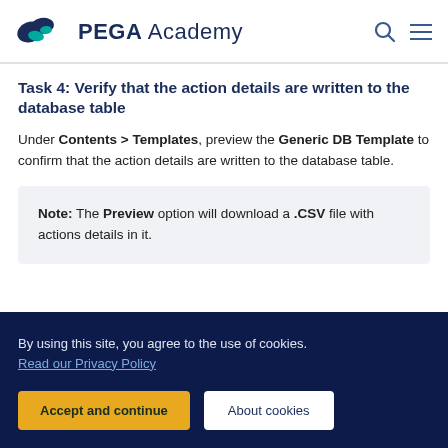PEGA Academy
Task 4: Verify that the action details are written to the database table
Under Contents > Templates, preview the Generic DB Template to confirm that the action details are written to the database table.
Note: The Preview option will download a .CSV file with actions details in it.
By using this site, you agree to the use of cookies. Read our Privacy Policy. Accept and continue. About cookies.